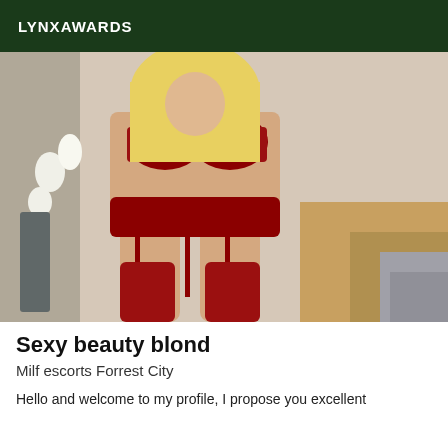LYNXAWARDS
[Figure (photo): Woman posing in red lingerie in a bedroom setting]
Sexy beauty blond
Milf escorts Forrest City
Hello and welcome to my profile, I propose you excellent